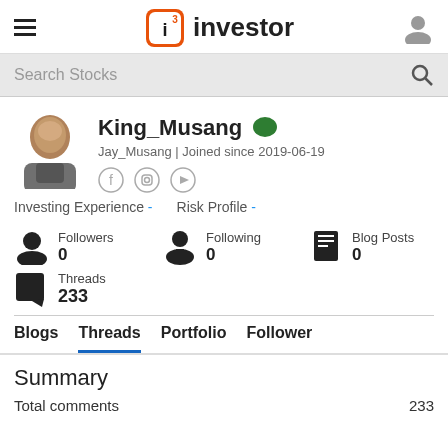i3 investor
Search Stocks
King_Musang
Jay_Musang | Joined since 2019-06-19
Investing Experience -   Risk Profile -
Followers 0
Following 0
Blog Posts 0
Threads 233
Blogs   Threads   Portfolio   Follower
Summary
Total comments   233